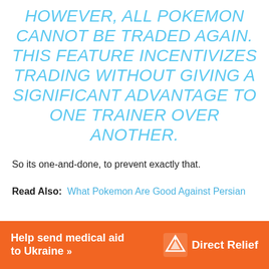HOWEVER, ALL POKEMON CANNOT BE TRADED AGAIN. THIS FEATURE INCENTIVIZES TRADING WITHOUT GIVING A SIGNIFICANT ADVANTAGE TO ONE TRAINER OVER ANOTHER.
So its one-and-done, to prevent exactly that.
Read Also:  What Pokemon Are Good Against Persian
[Figure (other): Direct Relief advertisement banner with orange background. Text: 'Help send medical aid to Ukraine >>' with Direct Relief logo on the right.]